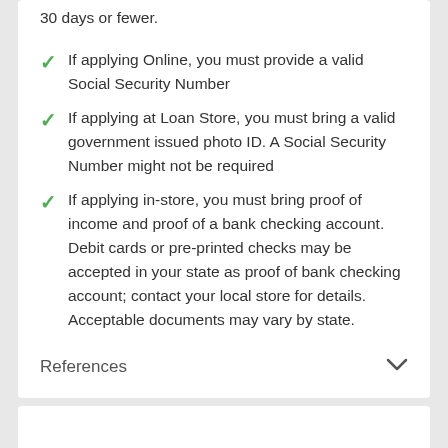30 days or fewer.
If applying Online, you must provide a valid Social Security Number
If applying at Loan Store, you must bring a valid government issued photo ID. A Social Security Number might not be required
If applying in-store, you must bring proof of income and proof of a bank checking account. Debit cards or pre-printed checks may be accepted in your state as proof of bank checking account; contact your local store for details. Acceptable documents may vary by state.
References